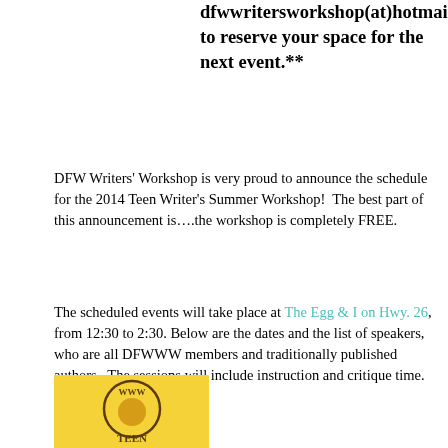dfwwritersworkshop(at)hotmail to reserve your space for the next event.**
DFW Writers' Workshop is very proud to announce the schedule for the 2014 Teen Writer's Summer Workshop!  The best part of this announcement is….the workshop is completely FREE.
The scheduled events will take place at The Egg & I on Hwy. 26, from 12:30 to 2:30. Below are the dates and the list of speakers, who are all DFWWW members and traditionally published authors.  The sessions will include instruction and critique time.
[Figure (logo): DFW Writers Workshop Teen logo on yellow background]